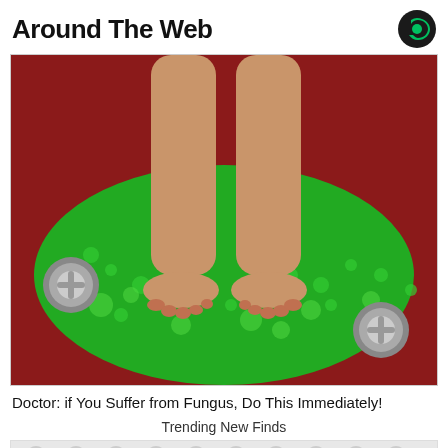Around The Web
[Figure (photo): Person's bare feet and lower legs standing in a red foot bath tub filled with bright green foamy water/solution, with silver faucet knobs on sides.]
Doctor: if You Suffer from Fungus, Do This Immediately!
Trending New Finds
[Figure (photo): Partially visible image below, showing a grey circular polka dot pattern background with a partial brown element at the lower left.]